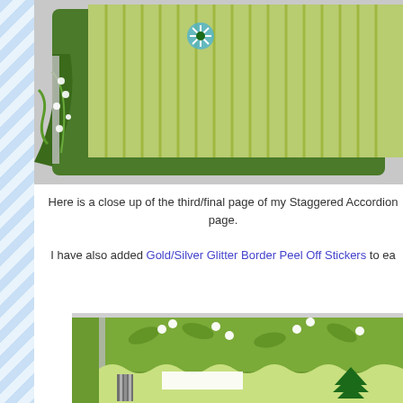[Figure (photo): Close-up photo of a green decorated craft sleigh/accordion book with striped green paper, snowflake embellishments and berry details, photographed against white background]
Here is a close up of the third/final page of my Staggered Accordion page.

I have also added Gold/Silver Glitter Border Peel Off Stickers to ea
[Figure (photo): Close-up photo of a green accordion book page with leaf/berry patterns, scalloped border, and glittery green Christmas tree embellishment visible]